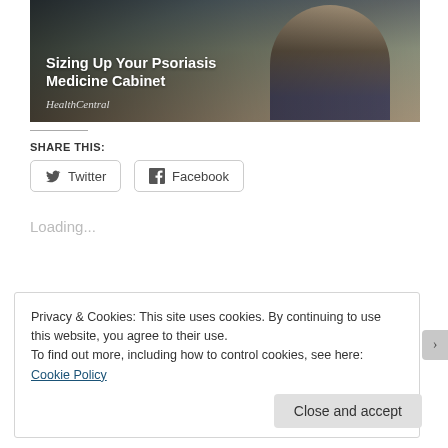[Figure (photo): Woman in a red plaid shirt crouching in a pharmacy/medicine aisle, looking at products on a shelf. Image serves as hero image for article about psoriasis medicine cabinet.]
Sizing Up Your Psoriasis Medicine Cabinet
HealthCentral
SHARE THIS:
Twitter
Facebook
Loading...
Privacy & Cookies: This site uses cookies. By continuing to use this website, you agree to their use.
To find out more, including how to control cookies, see here: Cookie Policy